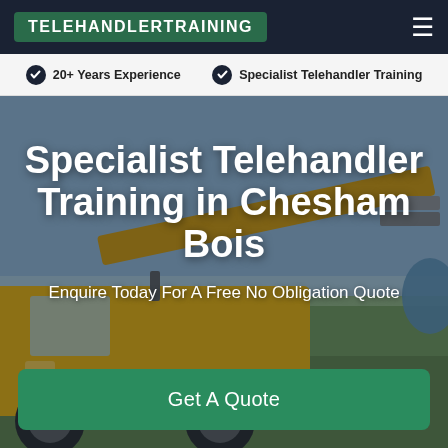TELEHANDLERTRAINING
20+ Years Experience  |  Specialist Telehandler Training
[Figure (photo): JCB yellow telehandler machine in an open field with a blue sky background, carrying a hay bale or farm load]
Specialist Telehandler Training in Chesham Bois
Enquire Today For A Free No Obligation Quote
Get A Quote